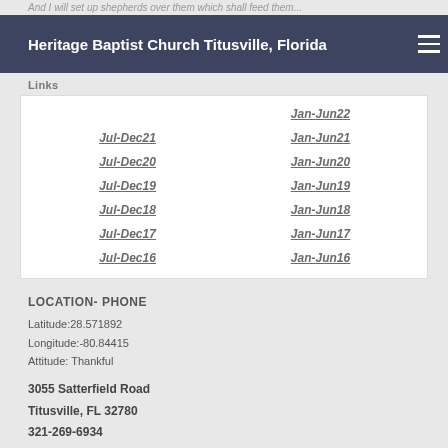And I will set up shepherds over them which shall feed them...
Heritage Baptist Church Titusville, Florida
Links
|  |  |
| --- | --- |
|  | Jan-Jun22 |
| Jul-Dec21 | Jan-Jun21 |
| Jul-Dec20 | Jan-Jun20 |
| Jul-Dec19 | Jan-Jun19 |
| Jul-Dec18 | Jan-Jun18 |
| Jul-Dec17 | Jan-Jun17 |
| Jul-Dec16 | Jan-Jun16 |
LOCATION- PHONE
Latitude:28.571892
Longitude:-80.84415
Attitude: Thankful
3055 Satterfield Road
Titusville, FL 32780
321-269-6934